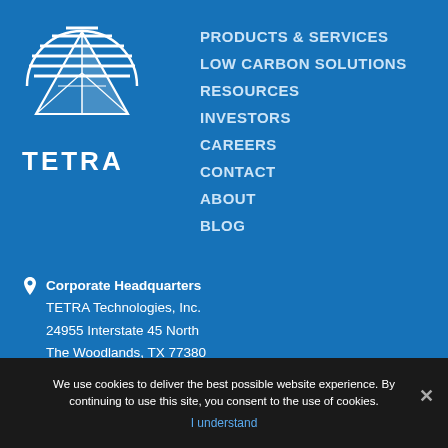[Figure (logo): TETRA Technologies logo: white triangle/pyramid with sun rays above, horizontal lines in semicircle, text TETRA below, on blue background]
PRODUCTS & SERVICES
LOW CARBON SOLUTIONS
RESOURCES
INVESTORS
CAREERS
CONTACT
ABOUT
BLOG
Corporate Headquarters
TETRA Technologies, Inc.
24955 Interstate 45 North
The Woodlands, TX 77380
We use cookies to deliver the best possible website experience. By continuing to use this site, you consent to the use of cookies.
I understand